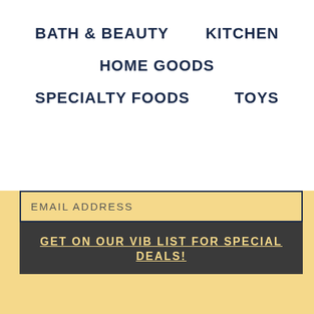BATH & BEAUTY
KITCHEN
HOME GOODS
SPECIALTY FOODS
TOYS
EMAIL ADDRESS
GET ON OUR VIB LIST FOR SPECIAL DEALS!